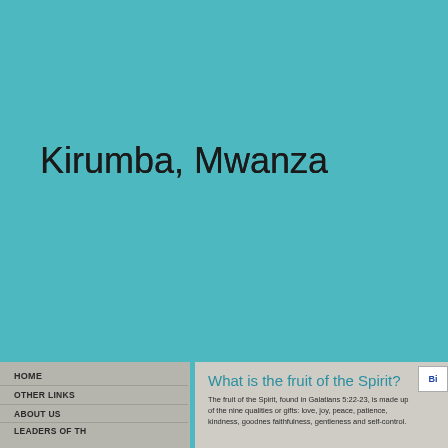Kirumba, Mwanza
HOME
OTHER LINKS
ABOUT US
LEADERS OF THE CHURCH
CONTACT US
CHURCH DEPARTMENTS
CHURCH CONSTRUCTION PROJECT
What is the fruit of the Spirit?
The fruit of the Spirit, found in Galatians 5:22-23, is made up of the nine qualities or gifts: love, joy, peace, patience, kindness, goodness, faithfulness, gentleness and self-control.
Fruit of the Spirit list:
Love
Joy
Peace
Patience